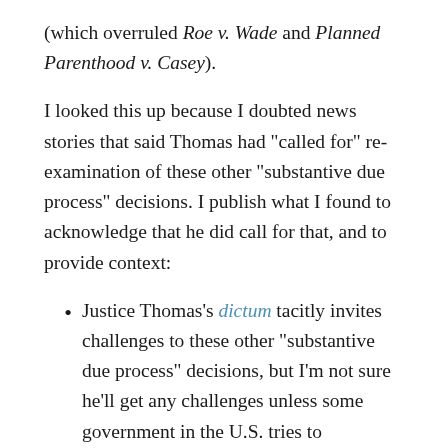(which overruled Roe v. Wade and Planned Parenthood v. Casey).
I looked this up because I doubted news stories that said Thomas had "called for" re-examination of these other "substantive due process" decisions. I publish what I found to acknowledge that he did call for that, and to provide context:
Justice Thomas's dictum tacitly invites challenges to these other "substantive due process" decisions, but I'm not sure he'll get any challenges unless some government in the U.S. tries to undermine the court-decreed rights to contraception, consensual adult sodomy or same-sex marriage. Unlike the situation with abortion, I'm just not sure